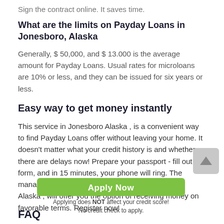Sign the contract online. It saves time.
What are the limits on Payday Loans in Jonesboro, Alaska
Generally, $ 50,000, and $ 13.000 is the average amount for Payday Loans. Usual rates for microloans are 10% or less, and they can be issued for six years or less.
Easy way to get money instantly
This service in Jonesboro Alaska , is a convenient way to find Payday Loans offer without leaving your home. It doesn't matter what your credit history is and whether there are delays now! Prepare your passport - fill out the form, and in 15 minutes, your phone will ring. The manager of the credit organization in Jonesboro in Alaska , will offer you the option of receiving money on favorable terms. Register now!
Applying does NOT affect your credit score! No credit check to apply.
FAQ